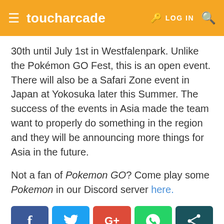toucharcade | LOG IN
30th until July 1st in Westfalenpark. Unlike the Pokémon GO Fest, this is an open event. There will also be a Safari Zone event in Japan at Yokosuka later this Summer. The success of the events in Asia made the team want to properly do something in the region and they will be announcing more things for Asia in the future.
Not a fan of Pokemon GO? Come play some Pokemon in our Discord server here.
[Figure (infographic): Social share buttons: Facebook (blue), Twitter (light blue), Google+ (red), WhatsApp (green), Share (dark teal)]
[Figure (screenshot): Partial view of a dark blue card/image at the bottom of the page showing what appears to be a Pokemon-related image with an orange circular shape]